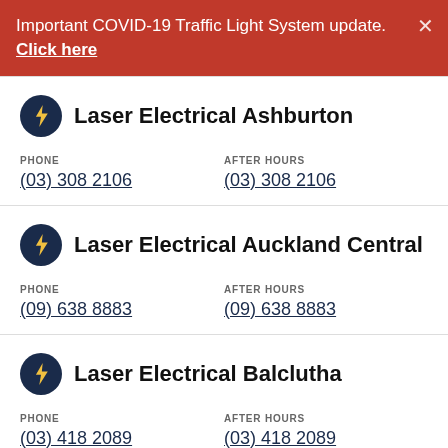Important COVID-19 Traffic Light System update. Click here
Laser Electrical Ashburton
PHONE
(03) 308 2106
AFTER HOURS
(03) 308 2106
Laser Electrical Auckland Central
PHONE
(09) 638 8883
AFTER HOURS
(09) 638 8883
Laser Electrical Balclutha
PHONE
(03) 418 2089
AFTER HOURS
(03) 418 2089